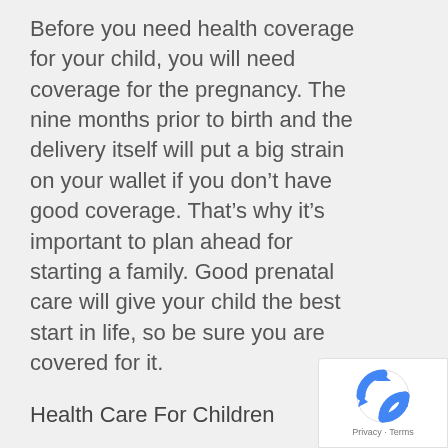Before you need health coverage for your child, you will need coverage for the pregnancy. The nine months prior to birth and the delivery itself will put a big strain on your wallet if you don't have good coverage. That's why it's important to plan ahead for starting a family. Good prenatal care will give your child the best start in life, so be sure you are covered for it.
Health Care For Children
[Figure (logo): reCAPTCHA logo with Privacy and Terms text]